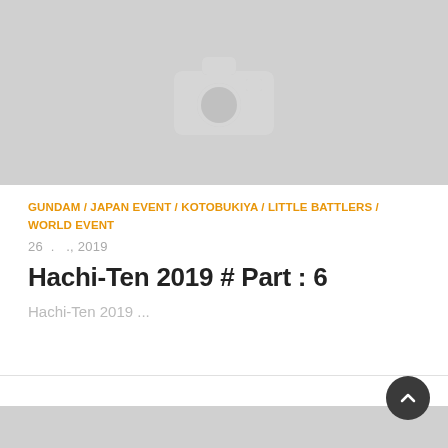[Figure (photo): Placeholder image with a camera icon on a light grey background]
GUNDAM / JAPAN EVENT / KOTOBUKIYA / LITTLE BATTLERS / WORLD EVENT
26 . ., 2019
Hachi-Ten 2019 # Part : 6
Hachi-Ten 2019 ...
[Figure (photo): Partial placeholder image at the bottom of the page]